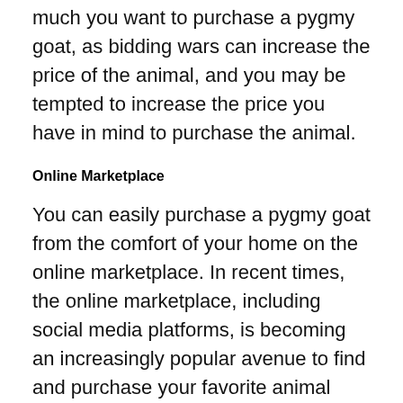much you want to purchase a pygmy goat, as bidding wars can increase the price of the animal, and you may be tempted to increase the price you have in mind to purchase the animal.
Online Marketplace
You can easily purchase a pygmy goat from the comfort of your home on the online marketplace. In recent times, the online marketplace, including social media platforms, is becoming an increasingly popular avenue to find and purchase your favorite animal without leaving your home.